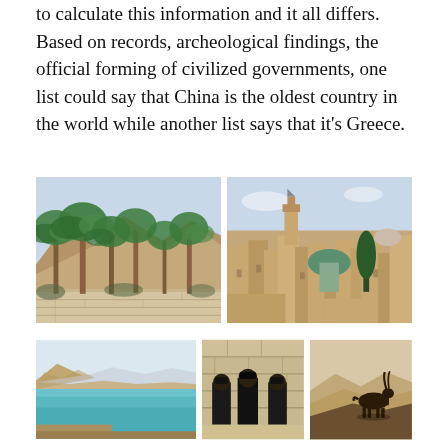to calculate this information and it all differs. Based on records, archeological findings, the official forming of civilized governments, one list could say that China is the oldest country in the world while another list says that it's Greece.
[Figure (photo): Six photographs arranged in a 2x3 grid. Top row: left - palm trees and rocky desert mountains with a stone wall; right - aerial view of a historic Middle Eastern city with domes and a church tower. Bottom row: left - turquoise water of the Dead Sea with arid mountains; center - three men in black coats and hats standing at a stone wall; right - a deer/ibex silhouette against desert hills. Bottom partial row: left - architectural detail; right - an outdoor covered market or shop.]